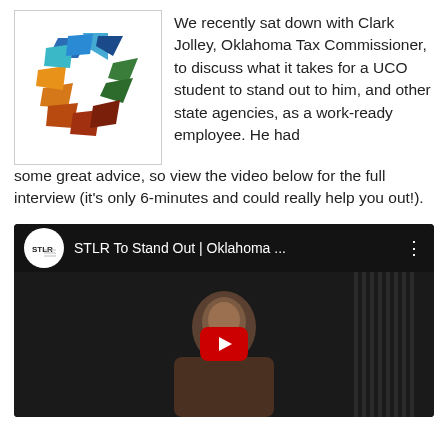[Figure (logo): UCO or STLR colorful geometric star/pinwheel logo made of blue, teal, green, orange, red, and dark red angular shapes]
We recently sat down with Clark Jolley, Oklahoma Tax Commissioner, to discuss what it takes for a UCO student to stand out to him, and other state agencies, as a work-ready employee. He had some great advice, so view the video below for the full interview (it's only 6-minutes and could really help you out!).
[Figure (screenshot): YouTube video thumbnail showing a person in a dark room with the title 'STLR To Stand Out | Oklahoma ...' and a red play button. The video header shows the STLR channel icon (white circle with STLR text) and three-dot menu.]